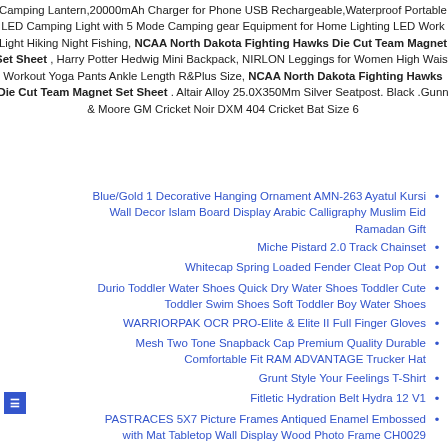Camping Lantern,20000mAh Charger for Phone USB Rechargeable,Waterproof Portable LED Camping Light with 5 Mode Camping gear Equipment for Home Lighting LED Work Light Hiking Night Fishing, NCAA North Dakota Fighting Hawks Die Cut Team Magnet Set Sheet , Harry Potter Hedwig Mini Backpack, NIRLON Leggings for Women High Waist Workout Yoga Pants Ankle Length R&Plus Size, NCAA North Dakota Fighting Hawks Die Cut Team Magnet Set Sheet . Altair Alloy 25.0X350Mm Silver Seatpost. Black .Gunn & Moore GM Cricket Noir DXM 404 Cricket Bat Size 6
Blue/Gold 1 Decorative Hanging Ornament AMN-263 Ayatul Kursi Wall Decor Islam Board Display Arabic Calligraphy Muslim Eid Ramadan Gift
Miche Pistard 2.0 Track Chainset
Whitecap Spring Loaded Fender Cleat Pop Out
Durio Toddler Water Shoes Quick Dry Water Shoes Toddler Cute Toddler Swim Shoes Soft Toddler Boy Water Shoes
WARRIORPAK OCR PRO-Elite & Elite II Full Finger Gloves
Mesh Two Tone Snapback Cap Premium Quality Durable Comfortable Fit RAM ADVANTAGE Trucker Hat
Grunt Style Your Feelings T-Shirt
Fitletic Hydration Belt Hydra 12 V1
PASTRACES 5X7 Picture Frames Antiqued Enamel Embossed with Mat Tabletop Wall Display Wood Photo Frame CH0029